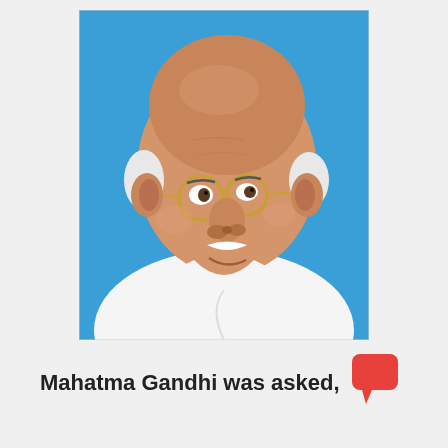[Figure (illustration): Portrait illustration of Mahatma Gandhi — bald head with white hair on sides, round gold-framed glasses, white mustache, wearing white dhoti clothing, smiling, against a bright blue background.]
Mahatma Gandhi was asked,